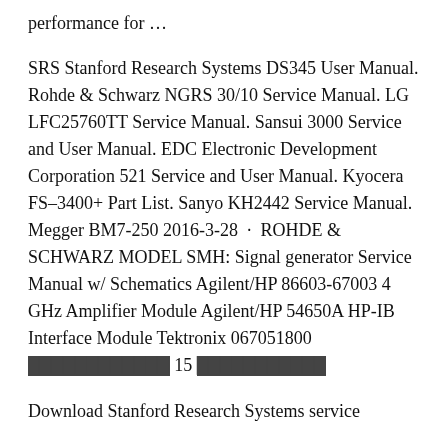performance for …
SRS Stanford Research Systems DS345 User Manual. Rohde & Schwarz NGRS 30/10 Service Manual. LG LFC25760TT Service Manual. Sansui 3000 Service and User Manual. EDC Electronic Development Corporation 521 Service and User Manual. Kyocera FS–3400+ Part List. Sanyo KH2442 Service Manual. Megger BM7-250 2016-3-28 · ROHDE & SCHWARZ MODEL SMH: Signal generator Service Manual w/ Schematics Agilent/HP 86603-67003 4 GHz Amplifier Module Agilent/HP 54650A HP-IB Interface Module Tektronix 067051800 🔲🔲🔲🔲🔲🔲🔲🔲🔲🔲🔲🔲 15 🔲🔲🔲🔲🔲🔲🔲🔲🔲🔲🔲
Download Stanford Research Systems service